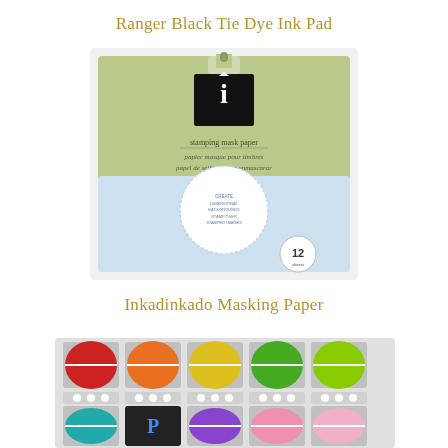Ranger Black Tie Dye Ink Pad
[Figure (photo): Product photo of Inkadinkado stamping mask paper in a green and blue packaging with '12 sheets' label]
Inkadinkado Masking Paper
[Figure (photo): Product photo of a colorful ink pad set with multiple round pads in red, orange, yellow, green, blue, teal, purple, and pink colors in a tray]